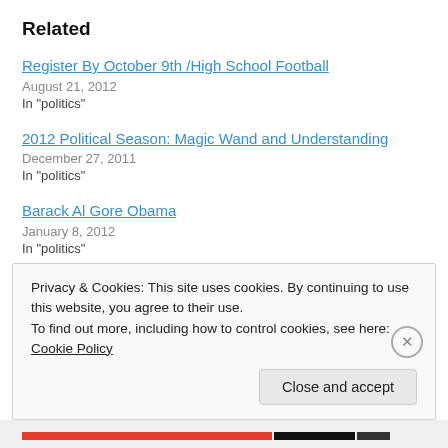Related
Register By October 9th /High School Football
August 21, 2012
In "politics"
2012 Political Season: Magic Wand and Understanding
December 27, 2011
In "politics"
Barack Al Gore Obama
January 8, 2012
In "politics"
Privacy & Cookies: This site uses cookies. By continuing to use this website, you agree to their use.
To find out more, including how to control cookies, see here: Cookie Policy
Close and accept